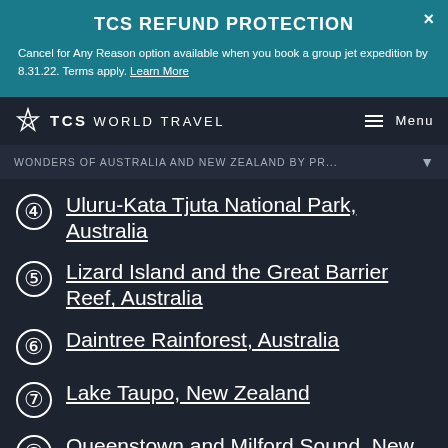TCS REFUND PROTECTION
Cancel for Any Reason option available when you book a group jet expedition by 8.31.22. Terms apply. Learn More
TCS WORLD TRAVEL  Menu
WONDERS OF AUSTRALIA AND NEW ZEALAND BY PR...
4  Uluru-Kata Tjuta National Park, Australia
5  Lizard Island and the Great Barrier Reef, Australia
6  Daintree Rainforest, Australia
7  Lake Taupo, New Zealand
8  Queenstown and Milford Sound, New Zealand